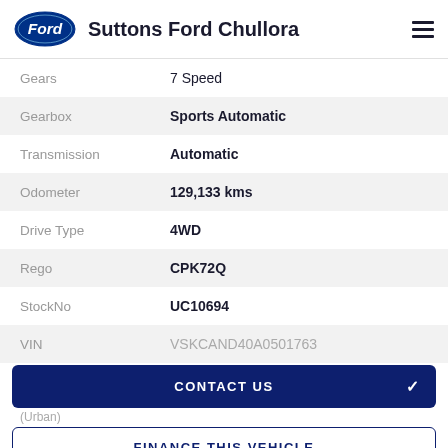Suttons Ford Chullora
| Attribute | Value |
| --- | --- |
| Gears | 7 Speed |
| Gearbox | Sports Automatic |
| Transmission | Automatic |
| Odometer | 129,133 kms |
| Drive Type | 4WD |
| Rego | CPK72Q |
| StockNo | UC10694 |
| VIN | VSKCAND40A0501763 |
CONTACT US
(Urban)
FINANCE THIS VEHICLE